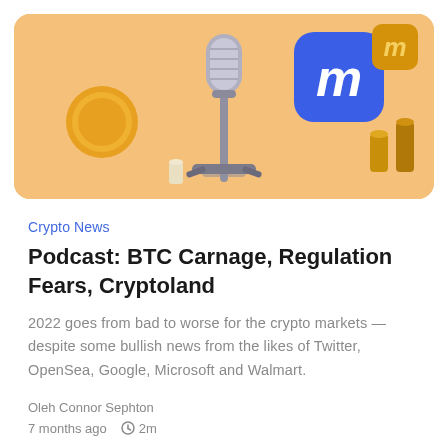[Figure (illustration): Hero illustration on peach/orange background showing a 3D microphone stand in center, a blue rounded-square icon with white 'M' logo (CoinMarketCap), a smaller gold version of the same icon, gold coins, and gold bar chart cylinders scattered around]
Crypto News
Podcast: BTC Carnage, Regulation Fears, Cryptoland
2022 goes from bad to worse for the crypto markets — despite some bullish news from the likes of Twitter, OpenSea, Google, Microsoft and Walmart.
Oleh Connor Sephton
7 months ago   2m